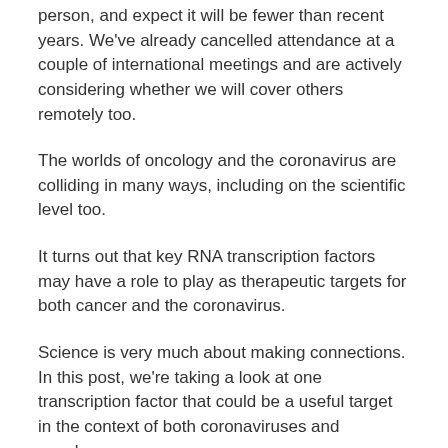person, and expect it will be fewer than recent years. We've already cancelled attendance at a couple of international meetings and are actively considering whether we will cover others remotely too.
The worlds of oncology and the coronavirus are colliding in many ways, including on the scientific level too.
It turns out that key RNA transcription factors may have a role to play as therapeutic targets for both cancer and the coronavirus.
Science is very much about making connections. In this post, we're taking a look at one transcription factor that could be a useful target in the context of both coronaviruses and oncology.
It's time to look through an alternative window and see an entirely different perspective…